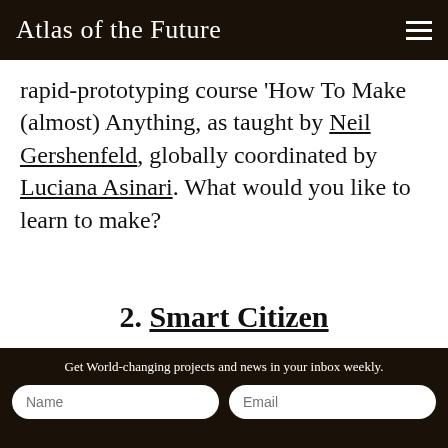Atlas of the Future
rapid-prototyping course ‘How To Make (almost) Anything, as taught by Neil Gershenfeld, globally coordinated by Luciana Asinari. What would you like to learn to make?
2. Smart Citizen
[Figure (photo): Partial view of a photo showing an outdoor scene, partially visible at bottom of page]
Get World-changing projects and news in your inbox weekly. Name Email